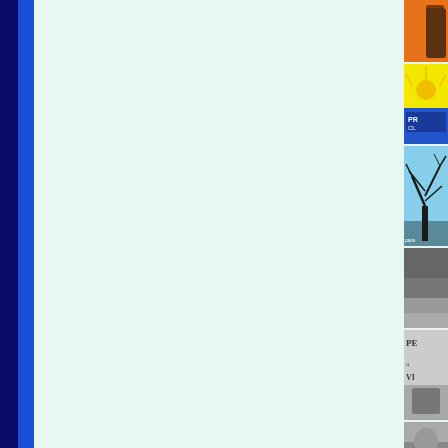[Figure (illustration): Page layout with dark navy left border strip, blue vertical bar, large mint/pale green main content area, and right column of stacked book/album cover thumbnails including orange cover, yellow-blue cover, tree silhouette cover, stormy sky cover, black-and-white text cover, and black-and-white portrait cover.]